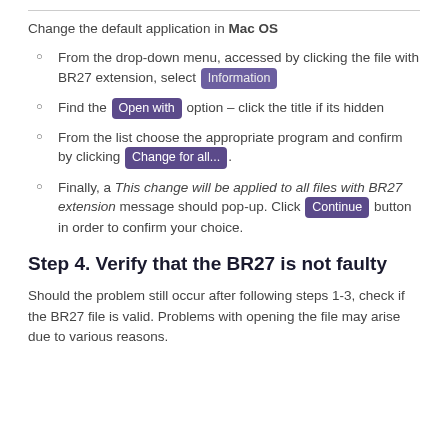Change the default application in Mac OS
From the drop-down menu, accessed by clicking the file with BR27 extension, select Information
Find the Open with option – click the title if its hidden
From the list choose the appropriate program and confirm by clicking Change for all....
Finally, a This change will be applied to all files with BR27 extension message should pop-up. Click Continue button in order to confirm your choice.
Step 4. Verify that the BR27 is not faulty
Should the problem still occur after following steps 1-3, check if the BR27 file is valid. Problems with opening the file may arise due to various reasons.